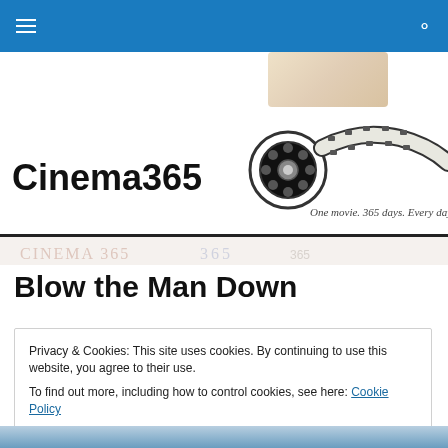Cinema365 navigation bar
[Figure (logo): Cinema365 logo with film reel and film strip graphic, tagline: One movie. 365 days. Every day.]
Blow the Man Down
Privacy & Cookies: This site uses cookies. By continuing to use this website, you agree to their use. To find out more, including how to control cookies, see here: Cookie Policy
Close and accept